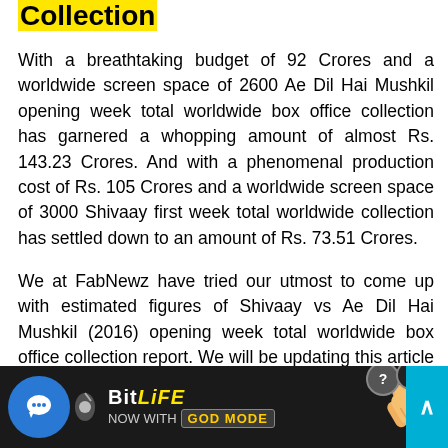Collection
With a breathtaking budget of 92 Crores and a worldwide screen space of 2600 Ae Dil Hai Mushkil opening week total worldwide box office collection has garnered a whopping amount of almost Rs. 143.23 Crores. And with a phenomenal production cost of Rs. 105 Crores and a worldwide screen space of 3000 Shivaay first week total worldwide collection has settled down to an amount of Rs. 73.51 Crores.
We at FabNewz have tried our utmost to come up with estimated figures of Shivaay vs Ae Dil Hai Mushkil (2016) opening week total worldwide box office collection report. We will be updating this article as soon as there is an official confirmation regarding e...
[Figure (infographic): BitLife advertisement banner with chat bubble icon, BitLife logo with 'NOW WITH GOD MODE' text, hand pointing illustration, help button, close button, and scroll-up button on the right.]